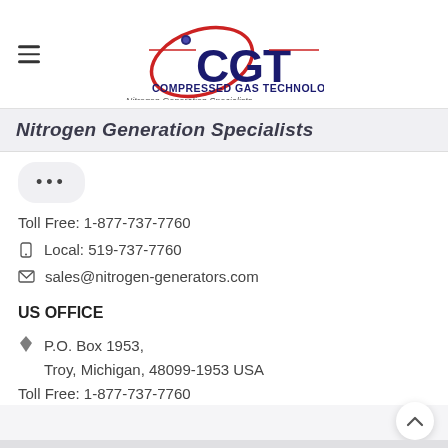[Figure (logo): CGT Compressed Gas Technologies Inc. logo with red swoosh and 'Nitrogen Generation Specialists' tagline]
Nitrogen Generation Specialists
...
Toll Free: 1-877-737-7760
Local: 519-737-7760
sales@nitrogen-generators.com
US OFFICE
P.O. Box 1953,
Troy, Michigan, 48099-1953 USA
Toll Free: 1-877-737-7760